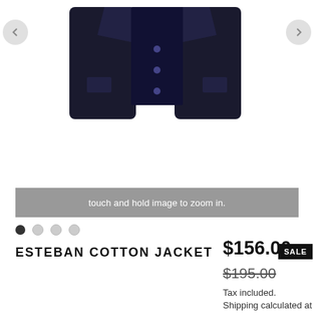[Figure (photo): Product image of Esteban Cotton Jacket in navy/dark color, shown from front, with navigation arrows on left and right sides]
touch and hold image to zoom in.
ESTEBAN COTTON JACKET
$156.00
SALE
$195.00
Tax included.
Shipping calculated at